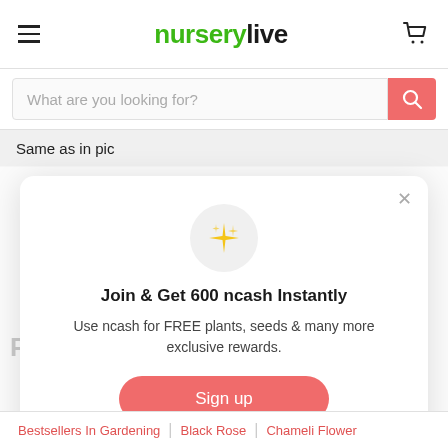nurserylive
What are you looking for?
Same as in pic
[Figure (screenshot): Modal popup on nurserylive website showing a sparkle icon, text 'Join & Get 600 ncash Instantly', description 'Use ncash for FREE plants, seeds & many more exclusive rewards.', a 'Sign up' button, and 'Already have an account? Sign in' link with a close (×) button.]
Join & Get 600 ncash Instantly
Use ncash for FREE plants, seeds & many more exclusive rewards.
Sign up
Already have an account? Sign in
Bestsellers In Gardening | Black Rose | Chameli Flower